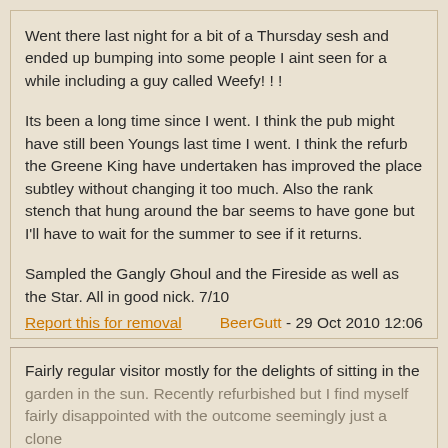Went there last night for a bit of a Thursday sesh and ended up bumping into some people I aint seen for a while including a guy called Weefy! ! !

Its been a long time since I went. I think the pub might have still been Youngs last time I went. I think the refurb the Greene King have undertaken has improved the place subtley without changing it too much. Also the rank stench that hung around the bar seems to have gone but I'll have to wait for the summer to see if it returns.

Sampled the Gangly Ghoul and the Fireside as well as the Star. All in good nick. 7/10
Report this for removal    BeerGutt - 29 Oct 2010 12:06
Fairly regular visitor mostly for the delights of sitting in the garden in the sun. Recently refurbished but I find myself fairly disappointed with the outcome seemingly just a clone